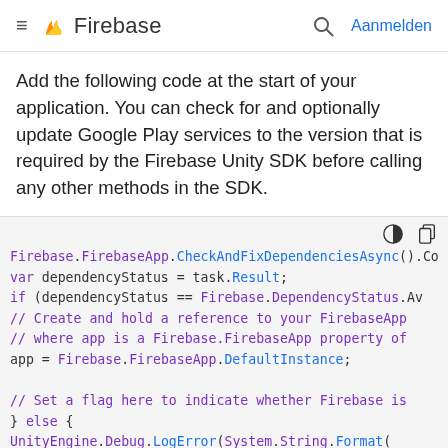≡ Firebase  🔍 Aanmelden
Add the following code at the start of your application. You can check for and optionally update Google Play services to the version that is required by the Firebase Unity SDK before calling any other methods in the SDK.
[Figure (screenshot): Code block showing Firebase Unity SDK dependency check code in C#, with syntax highlighting. Contains Firebase.FirebaseApp.CheckAndFixDependenciesAsync().Co..., var dependencyStatus = task.Result;, if (dependencyStatus == Firebase.DependencyStatus.Av..., // Create and hold a reference to your FirebaseApp, // where app is a Firebase.FirebaseApp property of, app = Firebase.FirebaseApp.DefaultInstance;, // Set a flag here to indicate whether Firebase is, } else {, UnityEngine.Debug.LogError(System.String.Format(, "Could not resolve all Firebase dependencies: {0..., // Firebase Unity SDK is not safe to use here., }]